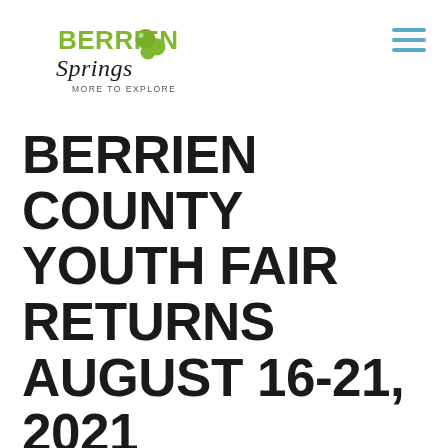[Figure (logo): Berrien Springs 'More to Explore!' logo with green text and circular leaf/berry graphic]
BERRIEN COUNTY YOUTH FAIR RETURNS AUGUST 16-21, 2021
Aug 5, 2021 | Featured
[Figure (photo): Close-up photo of a fair/event scene, blurred bokeh background with warm tones]